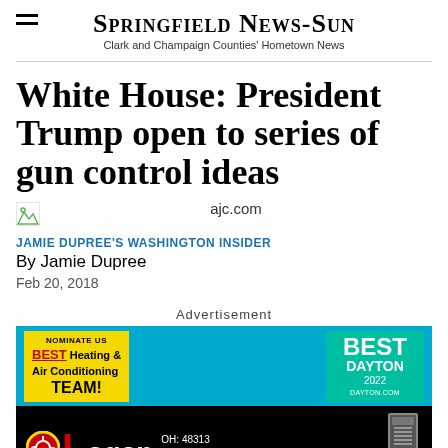Springfield News-Sun
Clark and Champaign Counties' Hometown News
White House: President Trump open to series of gun control ideas
ajc.com
JAMIE DUPREE'S WASHINGTON INSIDER
By Jamie Dupree
Feb 20, 2018
Advertisement
[Figure (photo): Advertisement banner for Logan AC & Heat Services featuring 'Nominate Us Best Heating & Air Conditioning Team!' and 'Best Dayton' award badge, with Logan logo and AC & Heat Services text on black background.]